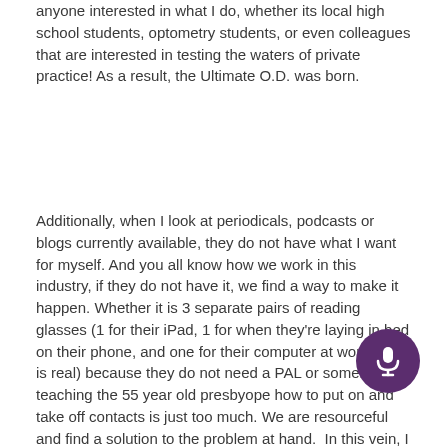anyone interested in what I do, whether its local high school students, optometry students, or even colleagues that are interested in testing the waters of private practice! As a result, the Ultimate O.D. was born.
Additionally, when I look at periodicals, podcasts or blogs currently available, they do not have what I want for myself. And you all know how we work in this industry, if they do not have it, we find a way to make it happen. Whether it is 3 separate pairs of reading glasses (1 for their iPad, 1 for when they're laying in bed on their phone, and one for their computer at work..this is real) because they do not need a PAL or somehow teaching the 55 year old presbyope how to put on and take off contacts is just too much. We are resourceful and find a solution to the problem at hand.  In this vein, I hope to create the c for YOU that I have been yearning for. The stuff that, lucky, I am privy to once or twice a year at a random CE
[Figure (other): Purple circular microphone button in bottom right corner]